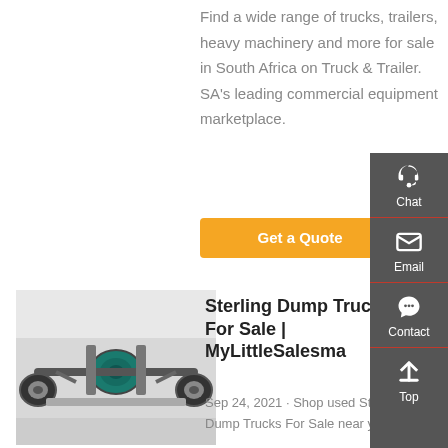Find a wide range of trucks, trailers, heavy machinery and more for sale in South Africa on Truck & Trailer. SA's leading commercial equipment marketplace.
[Figure (screenshot): Orange 'Get a Quote' button]
[Figure (photo): Underside/axle view of a Sterling dump truck]
Sterling Dump Trucks For Sale | MyLittleSalesman
Sep 24, 2021 · Shop used Sterling Dump Trucks For Sale near you on MyLittleSalesman...